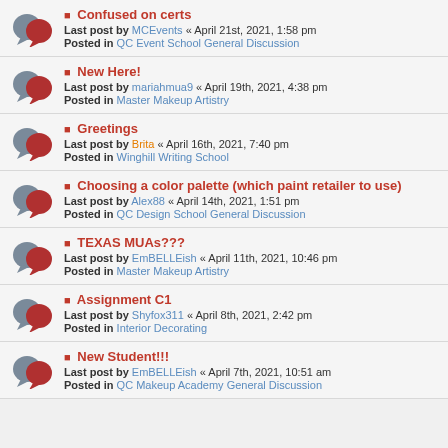Confused on certs
Last post by MCEvents « April 21st, 2021, 1:58 pm
Posted in QC Event School General Discussion
New Here!
Last post by mariahmua9 « April 19th, 2021, 4:38 pm
Posted in Master Makeup Artistry
Greetings
Last post by Brita « April 16th, 2021, 7:40 pm
Posted in Winghill Writing School
Choosing a color palette (which paint retailer to use)
Last post by Alex88 « April 14th, 2021, 1:51 pm
Posted in QC Design School General Discussion
TEXAS MUAs???
Last post by EmBELLEish « April 11th, 2021, 10:46 pm
Posted in Master Makeup Artistry
Assignment C1
Last post by Shyfox311 « April 8th, 2021, 2:42 pm
Posted in Interior Decorating
New Student!!!
Last post by EmBELLEish « April 7th, 2021, 10:51 am
Posted in QC Makeup Academy General Discussion